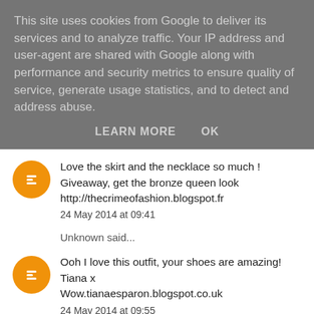This site uses cookies from Google to deliver its services and to analyze traffic. Your IP address and user-agent are shared with Google along with performance and security metrics to ensure quality of service, generate usage statistics, and to detect and address abuse.
LEARN MORE   OK
Love the skirt and the necklace so much ! Giveaway, get the bronze queen look http://thecrimeofashion.blogspot.fr
24 May 2014 at 09:41
Unknown said...
Ooh I love this outfit, your shoes are amazing! Tiana x Wow.tianaesparon.blogspot.co.uk
24 May 2014 at 09:55
GirlsAreDolls said...
Cute shoes :)
24 May 2014 at 16:59
Christabel Autumn said...